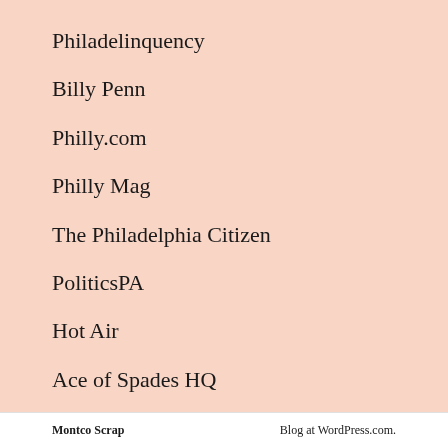Philadelinquency
Billy Penn
Philly.com
Philly Mag
The Philadelphia Citizen
PoliticsPA
Hot Air
Ace of Spades HQ
National Review
Montco Scrap    Blog at WordPress.com.